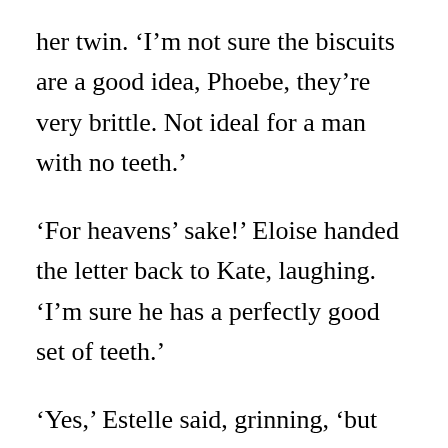her twin. ‘I’m not sure the biscuits are a good idea, Phoebe, they’re very brittle. Not ideal for a man with no teeth.’
‘For heavens’ sake!’ Eloise handed the letter back to Kate, laughing. ‘I’m sure he has a perfectly good set of teeth.’
‘Yes,’ Estelle said, grinning, ‘but the question is, are they his own?’
‘Perhaps I should make a sponge cake then,’